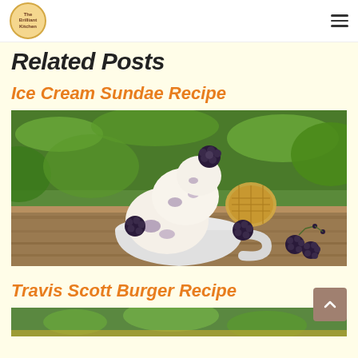Brilliant Kitchen — navigation bar with logo and hamburger menu
Related Posts
Ice Cream Sundae Recipe
[Figure (photo): A white cup/bowl filled with scoops of vanilla ice cream with blackberry swirls, topped with a blackberry and a waffle cookie, surrounded by fresh blackberries on a wooden surface with green foliage background.]
Travis Scott Burger Recipe
[Figure (photo): Partially visible photo, appears to show food items with green and yellow colors, likely ingredients for the Travis Scott Burger Recipe.]